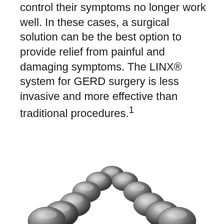control their symptoms no longer work well. In these cases, a surgical solution can be the best option to provide relief from painful and damaging symptoms. The LINX® system for GERD surgery is less invasive and more effective than traditional procedures.¹
[Figure (photo): A circular ring of metallic bead-like magnetic devices (the LINX® system), arranged in an arc/ring formation. The beads are silver/gray metallic spheres connected by wire links, photographed on a white background. The bottom portion of the ring is cut off at the page edge.]